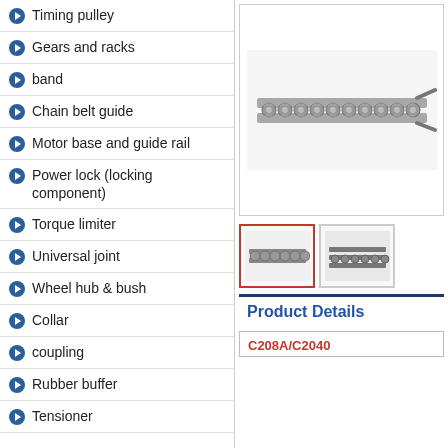Timing pulley
Gears and racks
band
Chain belt guide
Motor base and guide rail
Power lock (locking component)
Torque limiter
Universal joint
Wheel hub & bush
Collar
coupling
Rubber buffer
Tensioner
[Figure (photo): Industrial roller chain with extended pins, metallic, top-down side view]
[Figure (photo): Thumbnail of roller chain, selected (red border)]
[Figure (photo): Thumbnail of roller chain, alternate view]
Product Details
C208A/C2040